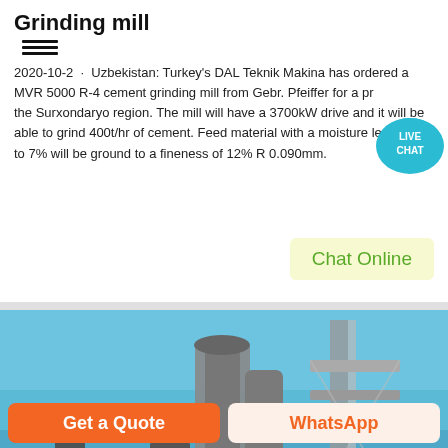Grinding mill
2020-10-2 · Uzbekistan: Turkey's DAL Teknik Makina has ordered a MVR 5000 R-4 cement grinding mill from Gebr. Pfeiffer for a project in the Surxondaryo region. The mill will have a 3700kW drive and it will be able to grind 400t/hr of cement. Feed material with a moisture level of up to 7% will be ground to a fineness of 12% R 0.090mm.
[Figure (other): Live Chat badge — teal speech bubble with LIVE CHAT text]
Chat Online
[Figure (photo): Industrial cement grinding mill equipment photograph showing large pipes and steel structure against blue sky]
Get a Quote
WhatsApp